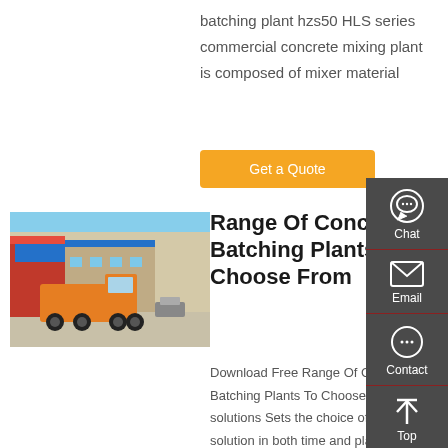batching plant hzs50 HLS series commercial concrete mixing plant is composed of mixer material
Get a Quote
[Figure (photo): Orange heavy truck parked in front of a large industrial facility with Chinese signage and blue banner.]
Range Of Concrete Batching Plants To Choose From
Download Free Range Of Concrete Batching Plants To Choose From solutions Sets the choice of solution in both time and place, and in the context of